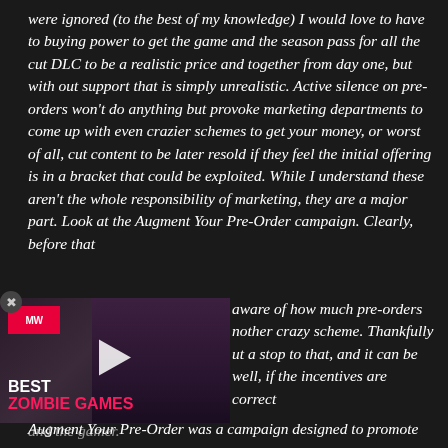were ignored (to the best of my knowledge) I would love to have to buying power to get the game and the season pass for all the cut DLC to be a realistic price and together from day one, but with out support that is simply unrealistic. Active silence on pre-orders won't do anything but provoke marketing departments to come up with even crazier schemes to get your money, or worst of all, cut content to be later resold if they feel the initial offering is in a bracket that could be exploited. While I understand these aren't the whole responsibility of marketing, they are a major part. Look at the Augment Your Pre-Order campaign. Clearly, before that aware of how much pre-orders nother crazy scheme. Thankfully ut a stop to that, and it can be well, if the incentives are correct and the gamer.
[Figure (screenshot): Video thumbnail showing a game character with a MV/MW logo in red top-left, a play button in center, and bold white/pink text reading BEST ZOMBIE GAMES at the bottom left.]
Augment Your Pre-Order was a campaign designed to promote